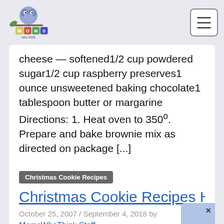MomsWhoThink logo and navigation
cheese — softened1/2 cup powdered sugar1/2 cup raspberry preserves1 ounce unsweetened baking chocolate1 tablespoon butter or margarine Directions: 1. Heat oven to 350º. Prepare and bake brownie mix as directed on package [...]
Read more »
Christmas Cookie Recipes
Christmas Cookie Recipes H
October 25, 2007 / September 4, 2018 by
MomsWhoThink Staff